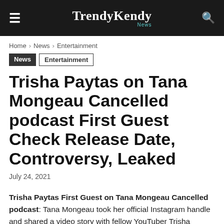TrendyKendy News
Home › News › Entertainment
News  Entertainment
Trisha Paytas on Tana Mongeau Cancelled podcast First Guest Check Release Date, Controversy, Leaked
July 24, 2021
Trisha Paytas First Guest on Tana Mongeau Cancelled podcast: Tana Mongeau took her official Instagram handle and shared a video story with fellow YouTuber Trisha Paytas